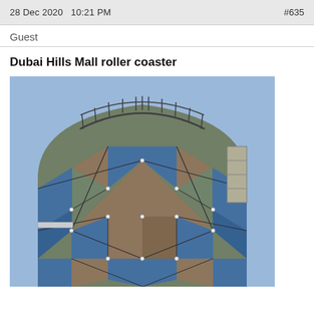28 Dec 2020  10:21 PM  #635
Guest
Dubai Hills Mall roller coaster
[Figure (photo): Exterior photo of Dubai Hills Mall roller coaster tower building with blue and brown triangular glass/metal facade panels in a geometric diamond pattern. A metal railing structure is visible at the top of the rounded tower. The photo is taken from below looking up.]